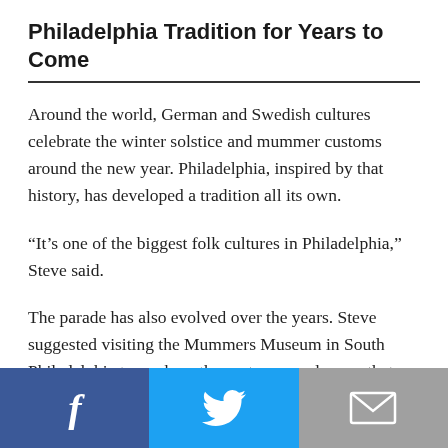Philadelphia Tradition for Years to Come
Around the world, German and Swedish cultures celebrate the winter solstice and mummer customs around the new year. Philadelphia, inspired by that history, has developed a tradition all its own.
“It’s one of the biggest folk cultures in Philadelphia,” Steve said.
The parade has also evolved over the years. Steve suggested visiting the Mummers Museum in South Philadelphia to see how the costumes and props that mummers used through the years have changed.
[Figure (other): Social sharing buttons: Facebook (blue), Twitter (light blue), Email (grey)]